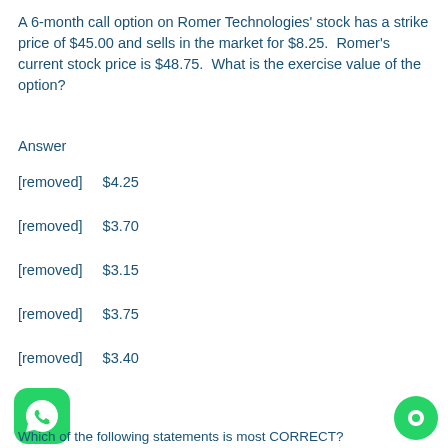A 6-month call option on Romer Technologies' stock has a strike price of $45.00 and sells in the market for $8.25.  Romer's current stock price is $48.75.  What is the exercise value of the option?
Answer
[removed]   $4.25
[removed]   $3.70
[removed]   $3.15
[removed]   $3.75
[removed]   $3.40
Which of the following statements is most CORRECT?